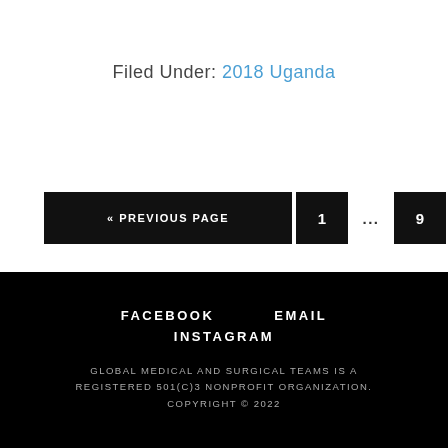Filed Under: 2018 Uganda
« PREVIOUS PAGE  1  ...  9  10  11
FACEBOOK  EMAIL  INSTAGRAM
GLOBAL MEDICAL AND SURGICAL TEAMS IS A REGISTERED 501(C)3 NONPROFIT ORGANIZATION. COPYRIGHT © 2022